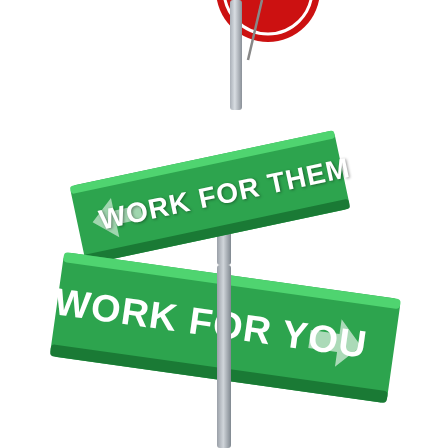[Figure (illustration): A 3D illustration of two crossing street signs on a metal pole with a red stop sign partially visible at the top. The upper green sign reads 'WORK FOR THEM' with a left-pointing arrow, angled slightly. The lower larger green sign reads 'WORK FOR YOU' with a right-pointing arrow, on a white background.]